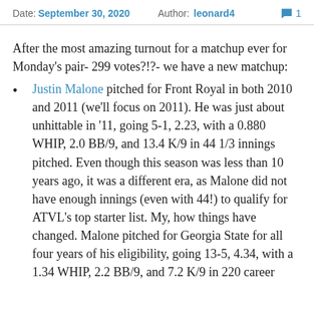Date: September 30, 2020  Author: leonard4  💬 1
After the most amazing turnout for a matchup ever for Monday's pair- 299 votes?!?- we have a new matchup:
Justin Malone pitched for Front Royal in both 2010 and 2011 (we'll focus on 2011). He was just about unhittable in '11, going 5-1, 2.23, with a 0.880 WHIP, 2.0 BB/9, and 13.4 K/9 in 44 1/3 innings pitched. Even though this season was less than 10 years ago, it was a different era, as Malone did not have enough innings (even with 44!) to qualify for ATVL's top starter list. My, how things have changed. Malone pitched for Georgia State for all four years of his eligibility, going 13-5, 4.34, with a 1.34 WHIP, 2.2 BB/9, and 7.2 K/9 in 220 career